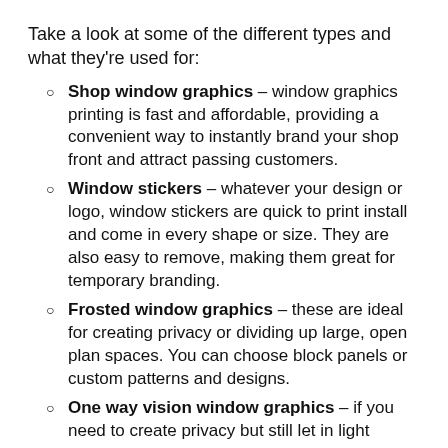Take a look at some of the different types and what they're used for:
Shop window graphics – window graphics printing is fast and affordable, providing a convenient way to instantly brand your shop front and attract passing customers.
Window stickers – whatever your design or logo, window stickers are quick to print install and come in every shape or size. They are also easy to remove, making them great for temporary branding.
Frosted window graphics – these are ideal for creating privacy or dividing up large, open plan spaces. You can choose block panels or custom patterns and designs.
One way vision window graphics – if you need to create privacy but still let in light